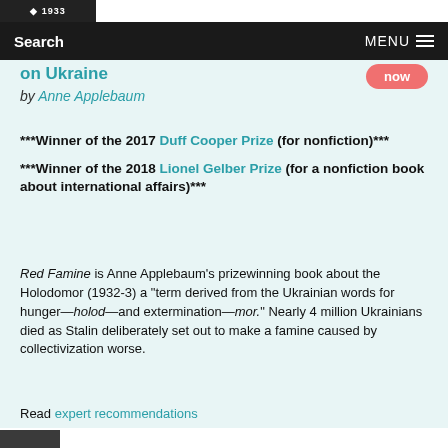[Figure (logo): Website logo with text and year 1933]
Search   MENU
on Ukraine by Anne Applebaum
***Winner of the 2017 Duff Cooper Prize (for nonfiction)***
***Winner of the 2018 Lionel Gelber Prize (for a nonfiction book about international affairs)***
Red Famine is Anne Applebaum's prizewinning book about the Holodomor (1932-3) a "term derived from the Ukrainian words for hunger—holod—and extermination—mor." Nearly 4 million Ukrainians died as Stalin deliberately set out to make a famine caused by collectivization worse.
Read expert recommendations